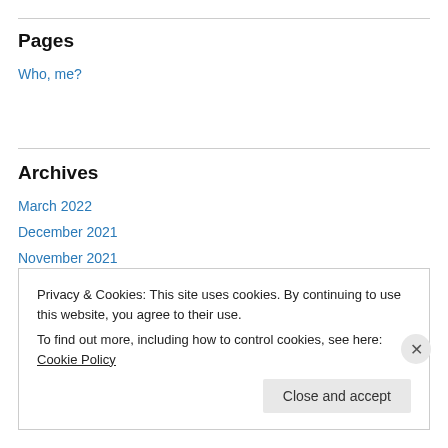Pages
Who, me?
Archives
March 2022
December 2021
November 2021
September 2021
Privacy & Cookies: This site uses cookies. By continuing to use this website, you agree to their use.
To find out more, including how to control cookies, see here: Cookie Policy
Close and accept